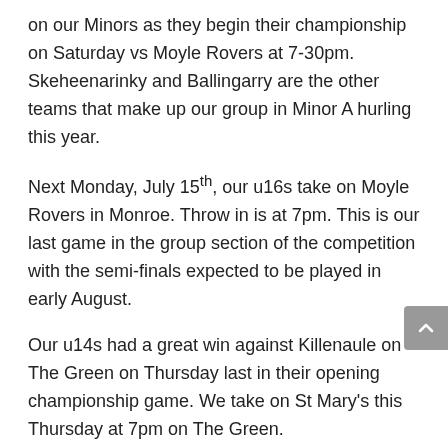on our Minors as they begin their championship on Saturday vs Moyle Rovers at 7-30pm. Skeheenarinky and Ballingarry are the other teams that make up our group in Minor A hurling this year.
Next Monday, July 15th, our u16s take on Moyle Rovers in Monroe. Throw in is at 7pm. This is our last game in the group section of the competition with the semi-finals expected to be played in early August.
Our u14s had a great win against Killenaule on The Green on Thursday last in their opening championship game. We take on St Mary's this Thursday at 7pm on The Green.
Our Cúl Camp begins next week on Monday July 15th and runs through Friday July 19th. The club would like to thank everybody who has already registered online. Online booking will close at 12 noon this coming Friday, Juy 15th. All children are welcome at our Cúl Camp. You